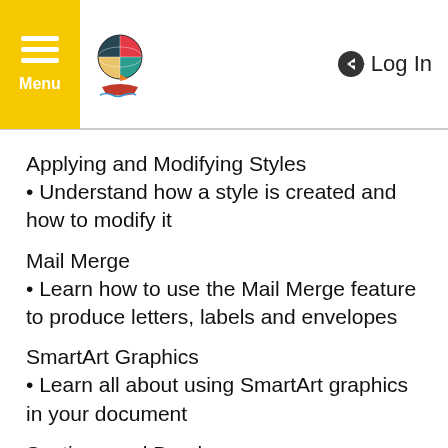Menu | Log In
Applying and Modifying Styles
• Understand how a style is created and how to modify it
Mail Merge
• Learn how to use the Mail Merge feature to produce letters, labels and envelopes
SmartArt Graphics
• Learn all about using SmartArt graphics in your document
Sections and Breaks
• Learn how to add page, section and column breaks